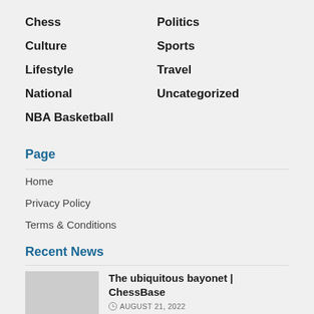Chess
Culture
Lifestyle
National
NBA Basketball
Politics
Sports
Travel
Uncategorized
Page
Home
Privacy Policy
Terms & Conditions
Recent News
The ubiquitous bayonet | ChessBase
AUGUST 21, 2022
Reebok just released the carbon plated Floatride